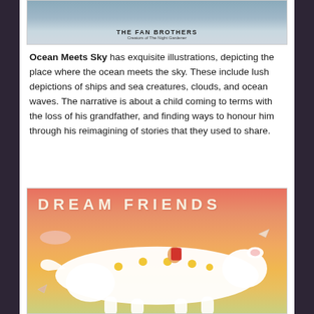[Figure (illustration): Top portion of a book cover showing ships in sky, with text 'THE FAN BROTHERS' and subtitle 'Creators of The Night Gardener']
Ocean Meets Sky has exquisite illustrations, depicting the place where the ocean meets the sky. These include lush depictions of ships and sea creatures, clouds, and ocean waves. The narrative is about a child coming to terms with the loss of his grandfather, and finding ways to honour him through his reimagining of stories that they used to share.
[Figure (illustration): Book cover of 'Dream Friends' showing a child riding on a large white flying animal (dog or bear) over colorful flowers, with rainbow sky background and paper birds flying around]